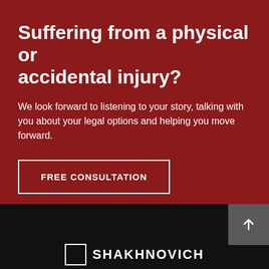Suffering from a physical or accidental injury?
We look forward to listening to your story, talking with you about your legal options and helping you move forward.
FREE CONSULTATION
[Figure (logo): Shakhnovich law firm logo with white square icon and text SHAKHNOVICH on black background]